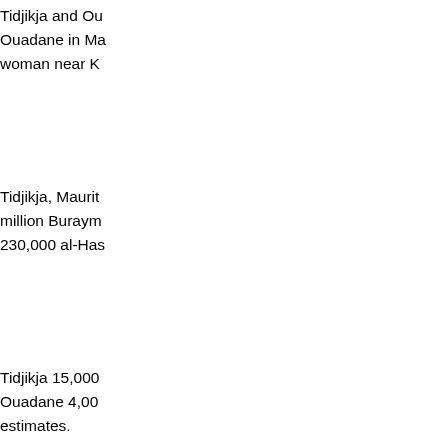Tidjikja and Ou Ouadane in Ma woman near K
Tidjikja, Maurit million Buraym 230,000 al-Has
Tidjikja 15,000 Ouadane 4,00 estimates.
Tidjikja Airport Timbedra Airport TMD Timbedra Airport OUZ Zouérat Airport Airport
Tidjikja - Mauritania Baba, our guide from Tidjikja Local dress In the w men wear the blue kaftans. Sometimes they are also white.
-Tidjikja (250km chrono) Tidjikja-Kiffa (370km liaison) 19/01/1985 Kiff Kedougou (320km chrono) 21/01/1985 Kedougou-Dialakoto (360km La Somone-M'boro (140km liaison) M'boro-Yoff-Dakar (80km chrono) Dakar rally Go to last year Paris-Dakar 1984 Paris-Dakar 1986 Go to
Tidjikja (3km liaison) Total : 654km 14/01/2001 Tidjikja - (2km liaison